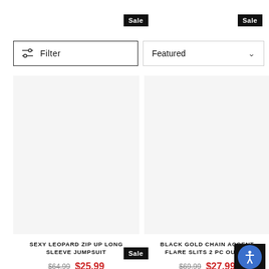[Figure (screenshot): E-commerce product listing page with filter controls, two product cards on sale (Sexy Leopard Zip Up Long Sleeve Jumpsuit and Black Gold Chain Accent Flare Slits 2 PC Outfit), with original and sale prices.]